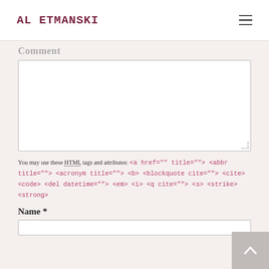AL ETMANSKI
Comment
You may use these HTML tags and attributes: <a href="" title=""> <abbr title=""> <acronym title=""> <b> <blockquote cite=""> <cite> <code> <del datetime=""> <em> <i> <q cite=""> <s> <strike> <strong>
Name *